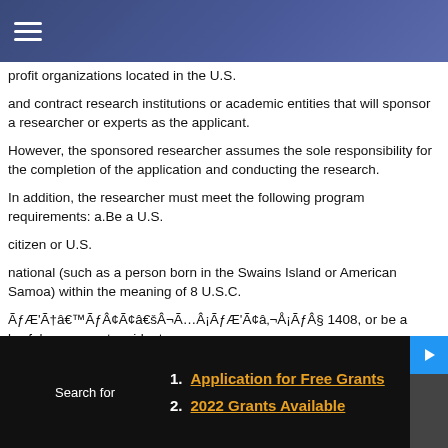☰ (hamburger menu)
profit organizations located in the U.S.
and contract research institutions or academic entities that will sponsor a researcher or experts as the applicant.
However, the sponsored researcher assumes the sole responsibility for the completion of the application and conducting the research.
In addition, the researcher must meet the following program requirements: a.Be a U.S.
citizen or U.S.
national (such as a person born in the Swains Island or American Samoa) within the meaning of 8 U.S.C.
ÃƒÆ'Ã†â€™ÃƒÂ¢Ã¢â€šÂ¬Ã…Â¡ÃƒÆ'Ã¢â‚¬Å¡ÃƒÂ§ 1408, or be a lawful permanent resident
(a recipient of an Alien Registration Recipient Card-Form I-551, commonly
Search for    1. Application for Free Grants    2. 2022 Grants Available